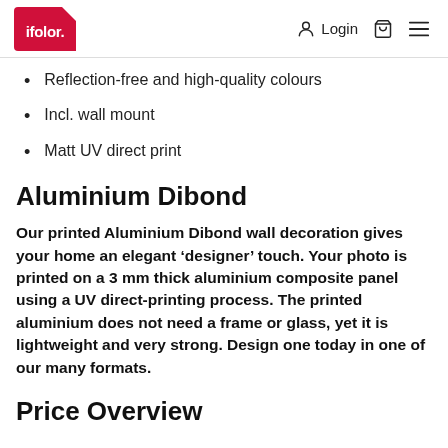ifolor. Login
Reflection-free and high-quality colours
Incl. wall mount
Matt UV direct print
Aluminium Dibond
Our printed Aluminium Dibond wall decoration gives your home an elegant ‘designer’ touch. Your photo is printed on a 3 mm thick aluminium composite panel using a UV direct-printing process. The printed aluminium does not need a frame or glass, yet it is lightweight and very strong. Design one today in one of our many formats.
Price Overview